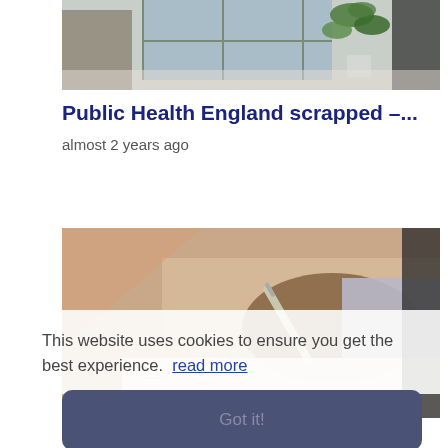[Figure (photo): Person's hand near a desk with a plant and window in the background]
Public Health England scrapped –...
almost 2 years ago
[Figure (photo): Close-up of a hand holding a silver pen signing a document]
This website uses cookies to ensure you get the best experience.  read more
Got it!
View all